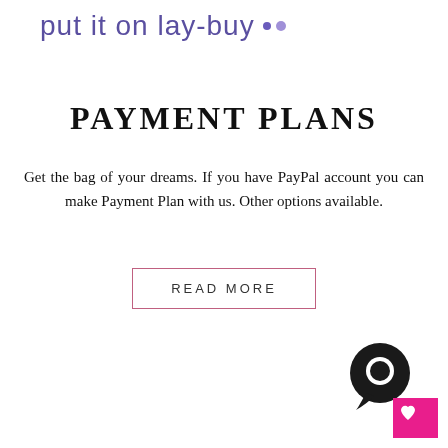[Figure (logo): put it on lay-buy logo with purple text and two dots]
PAYMENT PLANS
Get the bag of your dreams. If you have PayPal account you can make Payment Plan with us. Other options available.
READ MORE
[Figure (illustration): Chat bubble icon (dark circle) and pink wishlist heart icon in bottom right corner]